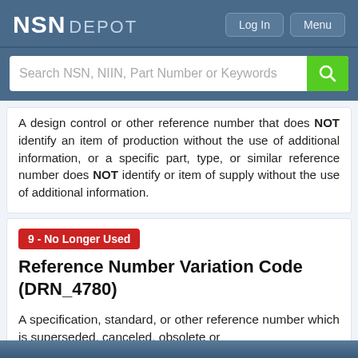NSN DEPOT
A design control or other reference number that does NOT identify an item of production without the use of additional information, or a specific part, type, or similar reference number does NOT identify or item of supply without the use of additional information.
9 - No Longer Used
Reference Number Variation Code (DRN_4780)
A specification, standard, or other reference number which is superseded, canceled, obsolete or